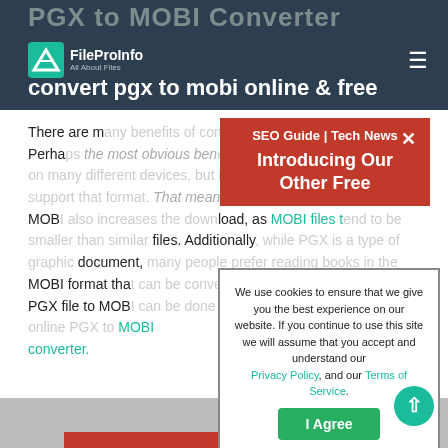PGX to MOBI Converter
convert pgx to mobi online & free
There are many benefits of converting a PGX file to MOBI. Perhaps the most obvious benefit is that a MOBI can be read on many different devices, but its use is limited to devices that support that format. That means that converting a PGX to MOBI also increases the download, as MOBI files tend to be smaller than similar files. Additionally, while PGX is a type of graphic document, many people prefer reading books in the MOBI format that can be converted from PGX. Converting an PGX file to MOBI can be done online for free by using our online PGX to MOBI converter.
[Figure (screenshot): Red ad banner overlay showing 'SEO Guide | Tech News' and 'Introducing Our Other Free' with a close (X) button]
[Figure (screenshot): Cookie consent modal: 'We use cookies to ensure that we give you the best experience on our website. If you continue to use this site we will assume that you accept and understand our Privacy Policy, and our Terms of Service.' with an 'I Agree' green button]
[Figure (screenshot): Bottom gray area with red strip and teal scroll-to-top button with upward arrow]